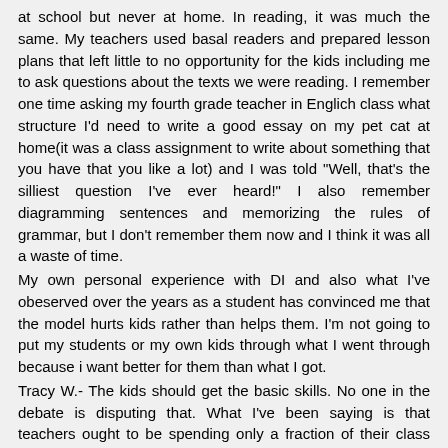at school but never at home. In reading, it was much the same. My teachers used basal readers and prepared lesson plans that left little to no opportunity for the kids including me to ask questions about the texts we were reading. I remember one time asking my fourth grade teacher in Englich class what structure I'd need to write a good essay on my pet cat at home(it was a class assignment to write about something that you have that you like a lot) and I was told "Well, that's the silliest question I've ever heard!" I also remember diagramming sentences and memorizing the rules of grammar, but I don't remember them now and I think it was all a waste of time.
My own personal experience with DI and also what I've obeserved over the years as a student has convinced me that the model hurts kids rather than helps them. I'm not going to put my students or my own kids through what I went through because i want better for them than what I got.
Tracy W.- The kids should get the basic skills. No one in the debate is disputing that. What I've been saying is that teachers ought to be spending only a fraction of their class time(say about 20%) on allowing kids to get those skills,and